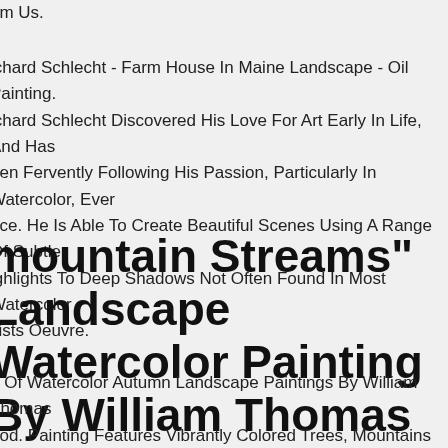om Us.
ichard Schlecht - Farm House In Maine Landscape - Oil Painting. ichard Schlecht Discovered His Love For Art Early In Life, And Has een Fervently Following His Passion, Particularly In Watercolor, Ever nce. He Is Able To Create Beautiful Scenes Using A Range Of Subtle ighlights To Deep Shadows Not Often Found In Most Watercolor itists Oeuvre.
mountain Streams" Landscape Watercolor Painting By William Thomas Wood
ir Of Watercolor Autumn Landscape Paintings By William Thomas ood. Painting Features Vibrantly Colored Trees, Mountains And A ke. Pieces Are Highly Detailed Without Being Hyper-realistic. Size 7 " X 10 12".